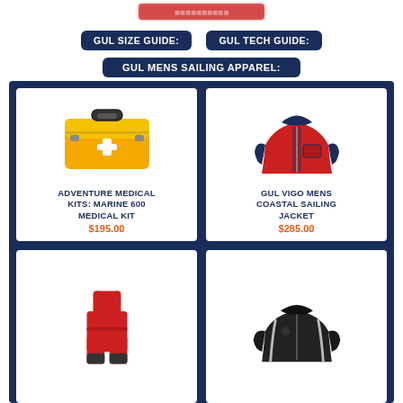[Figure (logo): Blurred brand logo at top]
GUL SIZE GUIDE:
GUL TECH GUIDE:
GUL MENS SAILING APPAREL:
[Figure (photo): Yellow Adventure Medical Kits Marine 600 case with first aid cross]
ADVENTURE MEDICAL KITS: MARINE 600 MEDICAL KIT
$195.00
[Figure (photo): Red and navy Gul Vigo mens coastal sailing jacket]
GUL VIGO MENS COASTAL SAILING JACKET
$285.00
[Figure (photo): Red and black sailing bib trousers]
[Figure (photo): Black sailing jacket]